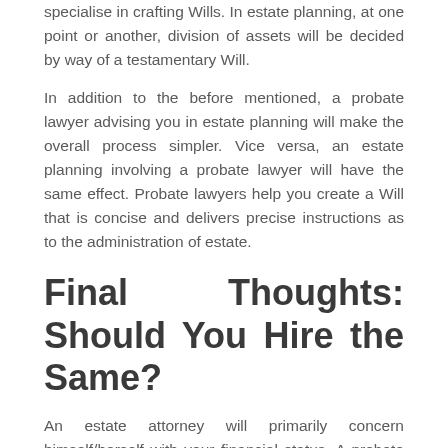specialise in crafting Wills. In estate planning, at one point or another, division of assets will be decided by way of a testamentary Will.
In addition to the before mentioned, a probate lawyer advising you in estate planning will make the overall process simpler. Vice versa, an estate planning involving a probate lawyer will have the same effect. Probate lawyers help you create a Will that is concise and delivers precise instructions as to the administration of estate.
Final Thoughts: Should You Hire the Same?
An estate attorney will primarily concern himself/herself with your financial status. A probate attorney consults you as to how to formulate an airtight Will, absent of faults. The only consideration